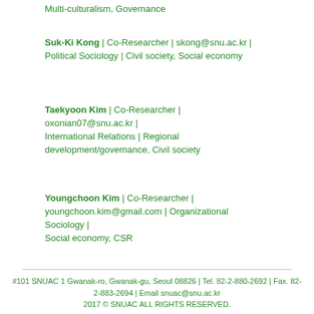Multi-culturalism, Governance
Suk-Ki Kong | Co-Researcher | skong@snu.ac.kr | Political Sociology | Civil society, Social economy
Taekyoon Kim | Co-Researcher | oxonian07@snu.ac.kr | International Relations | Regional development/governance, Civil society
Youngchoon Kim | Co-Researcher | youngchoon.kim@gmail.com | Organizational Sociology | Social economy, CSR
#101 SNUAC 1 Gwanak-ro, Gwanak-gu, Seoul 08826 | Tel. 82-2-880-2692 | Fax. 82-2-883-2694 | Email snuac@snu.ac.kr
2017 © SNUAC ALL RIGHTS RESERVED.